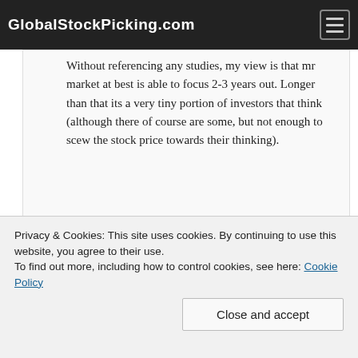GlobalStockPicking.com
Without referencing any studies, my view is that mr market at best is able to focus 2-3 years out. Longer than that its a very tiny portion of investors that think (although there of course are some, but not enough to scew the stock price towards their thinking).
REPLY
Privacy & Cookies: This site uses cookies. By continuing to use this website, you agree to their use.
To find out more, including how to control cookies, see here: Cookie Policy
Close and accept